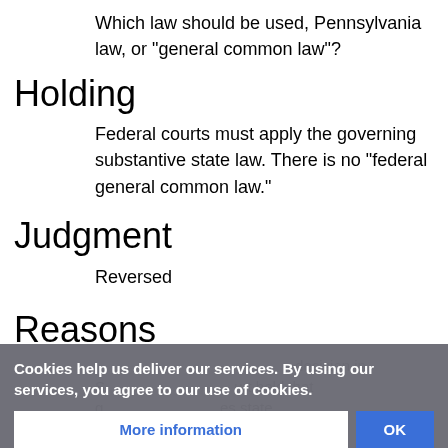Which law should be used, Pennsylvania law, or "general common law"?
Holding
Federal courts must apply the governing substantive state law. There is no "federal general common law."
Judgment
Reversed
Reasons
...decision in S... ...urt held that g... ...es state
Cookies help us deliver our services. By using our services, you agree to our use of cookies.